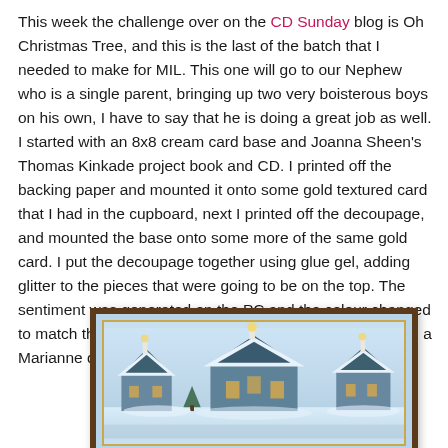This week the challenge over on the CD Sunday blog is Oh Christmas Tree, and this is the last of the batch that I needed to make for MIL. This one will go to our Nephew who is a single parent, bringing up two very boisterous boys on his own, I have to say that he is doing a great job as well. I started with an 8x8 cream card base and Joanna Sheen's Thomas Kinkade project book and CD. I printed off the backing paper and mounted it onto some gold textured card that I had in the cupboard, next I printed off the decoupage, and mounted the base onto some more of the same gold card. I put the decoupage together using glue gel, adding glitter to the pieces that were going to be on the top. The sentiment was generated on the PC and the colour changed to match the card. I've finished with a small poinsettia from a Marianne die and the leaves were from a crealies die.
[Figure (photo): A Christmas card showing a snowy village scene with snow-covered rooftops, blue tones, candle lights visible in windows, dark wooden frame with gold inner border.]